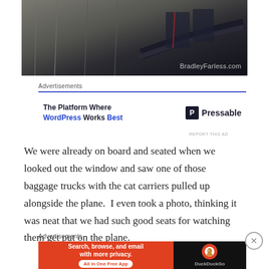[Figure (photo): Dark photograph showing a concrete wall or building exterior at night with a car or vehicle visible, watermarked with BradleyFarless.com]
Advertisements
[Figure (infographic): Pressable advertisement: 'The Platform Where WordPress Works Best' with Pressable logo]
REPORT THIS AD
We were already on board and seated when we looked out the window and saw one of those baggage trucks with the cat carriers pulled up alongside the plane.  I even took a photo, thinking it was neat that we had such good seats for watching them get put on the plane.
Advertisements
[Figure (infographic): DuckDuckGo advertisement: Search, browse, and email with more privacy. All in One Free App]